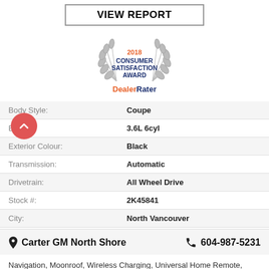VIEW REPORT
[Figure (logo): 2018 Consumer Satisfaction Award – DealerRater badge with laurel wreath. Text: '2018' in orange, 'CONSUMER SATISFACTION AWARD' in dark blue, 'DealerRater' in orange and blue below.]
| Field | Value |
| --- | --- |
| Body Style: | Coupe |
| Engine: | 3.6L 6cyl |
| Exterior Colour: | Black |
| Transmission: | Automatic |
| Drivetrain: | All Wheel Drive |
| Stock #: | 2K45841 |
| City: | North Vancouver |
Carter GM North Shore    604-987-5231
Navigation, Moonroof, Wireless Charging, Universal Home Remote, Memory Seat, Head-up Display, Heated Leather Seats, Heated Steering Wheel,